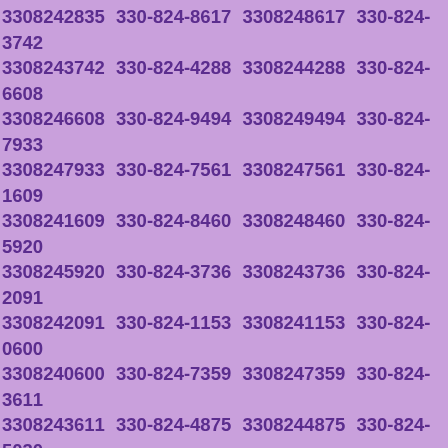3308242835 330-824-8617 3308248617 330-824-3742 3308243742 330-824-4288 3308244288 330-824-6608 3308246608 330-824-9494 3308249494 330-824-7933 3308247933 330-824-7561 3308247561 330-824-1609 3308241609 330-824-8460 3308248460 330-824-5920 3308245920 330-824-3736 3308243736 330-824-2091 3308242091 330-824-1153 3308241153 330-824-0600 3308240600 330-824-7359 3308247359 330-824-3611 3308243611 330-824-4875 3308244875 330-824-5030 3308245030 330-824-1563 3308241563 330-824-9242 3308249242 330-824-1538 3308241538 330-824-0429 3308240429 330-824-5127 3308245127 330-824-3195 3308243195 330-824-2405 3308242405 330-824-8945 3308248945 330-824-7027 3308247027 330-824-4914 3308244914 330-824-1342 3308241342 330-824-5933 3308245933 330-824-7471 3308247471 330-824-9369 3308249369 330-824-1076 3308241076 330-824-6298 3308246298 330-824-4446 3308244446 330-824-2020 3308242020 330-824-6928 3308246928 330-824-5589 3308245589 330-824-5334 3308245334 330-824-3460 3308243460 330-824-6298 3308246298 330-824-9675